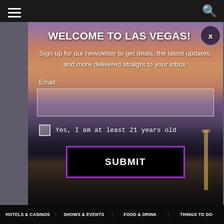[Figure (screenshot): Website screenshot showing a Las Vegas travel site with a newsletter signup modal overlay. The background shows an aerial view of the Las Vegas Strip at dusk/night. A top black navigation bar has a hamburger menu icon on the left and a search icon on the right. A modal dialog occupies the center with a Las Vegas skyline photo background. The modal contains a title 'WELCOME TO LAS VEGAS!', a newsletter signup message, an email input field, an age verification checkbox, and a purple-bordered SUBMIT button. A bottom navigation bar shows HOTELS & CASINOS, SHOWS & EVENTS, FOOD & DRINK, THINGS TO DO.]
WELCOME TO LAS VEGAS!
Sign up for our newsletter to get deals, the latest updates, and more delivered straight to your inbox.
Email:
Yes, I am at least 21 years old
SUBMIT
HOTELS & CASINOS   SHOWS & EVENTS   FOOD & DRINK   THINGS TO DO